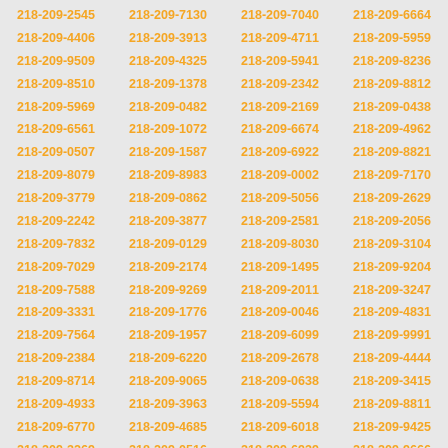| 218-209-2545 | 218-209-7130 | 218-209-7040 | 218-209-6664 |
| 218-209-4406 | 218-209-3913 | 218-209-4711 | 218-209-5959 |
| 218-209-9509 | 218-209-4325 | 218-209-5941 | 218-209-8236 |
| 218-209-8510 | 218-209-1378 | 218-209-2342 | 218-209-8812 |
| 218-209-5969 | 218-209-0482 | 218-209-2169 | 218-209-0438 |
| 218-209-6561 | 218-209-1072 | 218-209-6674 | 218-209-4962 |
| 218-209-0507 | 218-209-1587 | 218-209-6922 | 218-209-8821 |
| 218-209-8079 | 218-209-8983 | 218-209-0002 | 218-209-7170 |
| 218-209-3779 | 218-209-0862 | 218-209-5056 | 218-209-2629 |
| 218-209-2242 | 218-209-3877 | 218-209-2581 | 218-209-2056 |
| 218-209-7832 | 218-209-0129 | 218-209-8030 | 218-209-3104 |
| 218-209-7029 | 218-209-2174 | 218-209-1495 | 218-209-9204 |
| 218-209-7588 | 218-209-9269 | 218-209-2011 | 218-209-3247 |
| 218-209-3331 | 218-209-1776 | 218-209-0046 | 218-209-4831 |
| 218-209-7564 | 218-209-1957 | 218-209-6099 | 218-209-9991 |
| 218-209-2384 | 218-209-6220 | 218-209-2678 | 218-209-4444 |
| 218-209-8714 | 218-209-9065 | 218-209-0638 | 218-209-3415 |
| 218-209-4933 | 218-209-3963 | 218-209-5594 | 218-209-8811 |
| 218-209-6770 | 218-209-4685 | 218-209-6018 | 218-209-9425 |
| 218-209-3269 | 218-209-0516 | 218-209-6939 | 218-209-9666 |
| 218-209-6017 | 218-209-5636 | 218-209-3290 | 218-209-6660 |
| 218-209-5966 | 218-209-2489 | 218-209-3823 | 218-209-6280 |
| 218-209-3140 | 218-209-4647 | 218-209-9829 | 218-209-8794 |
| 218-209-5664 | 218-209-5706 | 218-209-5063 | 218-209-2699 |
| 218-209-3921 | 218-209-1290 | 218-209-8371 | 218-209-9368 |
| 218-209-8607 | 218-209-4683 | 218-209-7704 | 218-209-9448 |
| 218-209-2144 | 218-209-5624 | 218-209-5246 | 218-209-4408 |
| 218-209-0499 | 218-209-4785 | 218-209-7379 | 218-209-5634 |
| 218-209-8271 | 218-209-6217 | 218-209-5222 | 218-209-8310 |
| 218-209-6752 | 218-209-1311 | 218-209-3312 | 218-209-6626 |
| 218-209-7647 | 218-209-8775 | 218-209-5599 | 218-209-0560 |